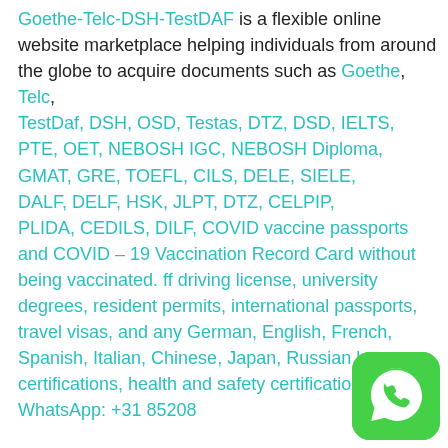Goethe-Telc-DSH-TestDAF is a flexible online website marketplace helping individuals from around the globe to acquire documents such as Goethe, Telc, TestDaf, DSH, OSD, Testas, DTZ, DSD, IELTS, PTE, OET, NEBOSH IGC, NEBOSH Diploma, GMAT, GRE, TOEFL, CILS, DELE, SIELE, DALF, DELF, HSK, JLPT, DTZ, CELPIP, PLIDA, CEDILS, DILF, COVID vaccine passports and COVID – 19 Vaccination Record Card without being vaccinated. ff driving license, university degrees, resident permits, international passports, travel visas, and any German, English, French, Spanish, Italian, Chinese, Japan, Russian language certifications, health and safety certifications, etc. WhatsApp: +31 85208
[Figure (logo): WhatsApp green rounded square icon with white phone handset]